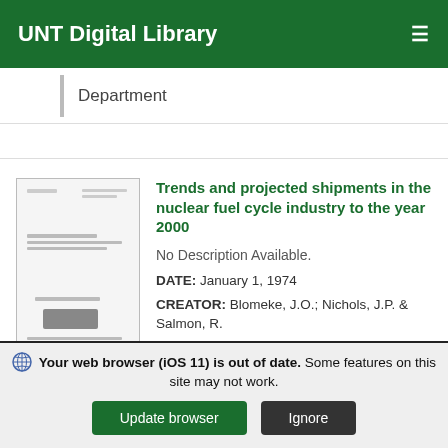UNT Digital Library
Department
[Figure (screenshot): Thumbnail image of a document page with text and a classification stamp]
Trends and projected shipments in the nuclear fuel cycle industry to the year 2000
No Description Available.
DATE: January 1, 1974
CREATOR: Blomeke, J.O.; Nichols, J.P. & Salmon, R.
Your web browser (iOS 11) is out of date. Some features on this site may not work.